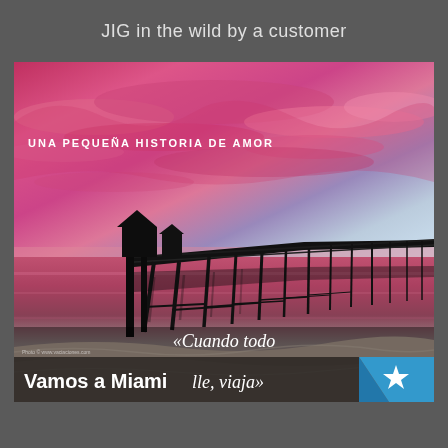JIG in the wild by a customer
[Figure (photo): A sunset beach scene with a wooden pier extending into calm water under a dramatic pink and red sky. Silhouette of buildings on the pier. Text overlays include 'UNA PEQUEÑA HISTORIA DE AMOR', '«Cuando todo', 'Vamos a Miami  lle, viaja»', and a blue star badge.]
UNA PEQUEÑA HISTORIA DE AMOR
«Cuando todo
Vamos a Miami  lle, viaja»